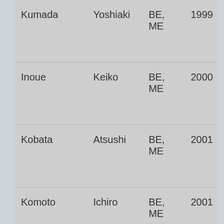| Kumada | Yoshiaki | BE, ME | 1999 |
| Inoue | Keiko | BE, ME | 2000 |
| Kobata | Atsushi | BE, ME | 2001 |
| Komoto | Ichiro | BE, ME | 2001 |